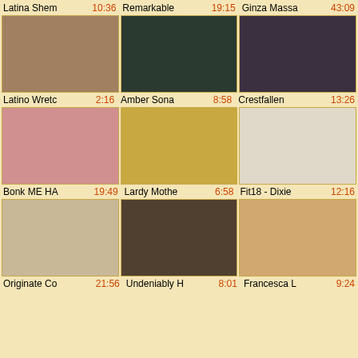Latina Shem  10:36  Remarkable  19:15  Ginza Massa  43:09
[Figure (photo): Video thumbnail 1: Latino Wretc]
[Figure (photo): Video thumbnail 2: Amber Sona]
[Figure (photo): Video thumbnail 3: Crestfallen]
Latino Wretc  2:16  Amber Sona  8:58  Crestfallen  13:26
[Figure (photo): Video thumbnail 4: Bonk ME HA]
[Figure (photo): Video thumbnail 5: Lardy Mothe]
[Figure (photo): Video thumbnail 6: Fit18 - Dixie]
Bonk ME HA  19:49  Lardy Mothe  6:58  Fit18 - Dixie  12:16
[Figure (photo): Video thumbnail 7: Originate Co]
[Figure (photo): Video thumbnail 8: Undeniably H]
[Figure (photo): Video thumbnail 9: Francesca L]
Originate Co  21:56  Undeniably H  8:01  Francesca L  9:24